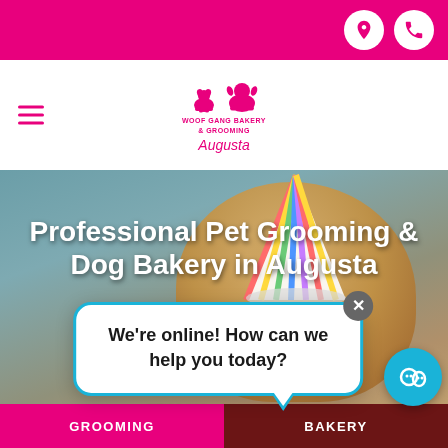[Figure (screenshot): Top pink navigation bar with location pin icon and phone icon on white circles]
[Figure (logo): Woof Gang Bakery & Grooming Augusta logo with two dog silhouettes in pink]
[Figure (photo): Hero image of a fluffy golden dog wearing a colorful party hat against a teal/grey background]
Professional Pet Grooming & Dog Bakery in Augusta
2701 Washington Rd
Augusta, GA, 30909
(70...
We're online! How can we help you today?
GROOMING | BAKERY